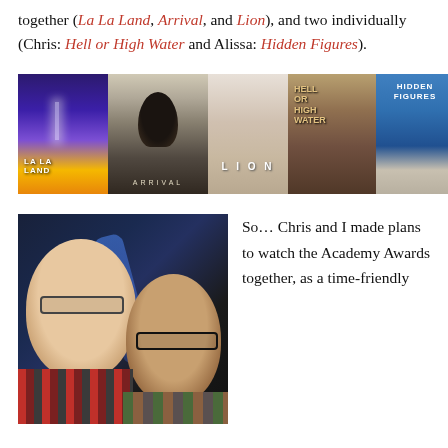together (La La Land, Arrival, and Lion), and two individually (Chris: Hell or High Water and Alissa: Hidden Figures).
[Figure (photo): A collage of five movie posters side by side: La La Land, Arrival, Lion, Hell or High Water, and Hidden Figures.]
[Figure (photo): A selfie photo of a couple (a woman with glasses smiling on the left and a man with glasses and beard on the right) in a dimly lit setting.]
So... Chris and I made plans to watch the Academy Awards together, as a time-friendly